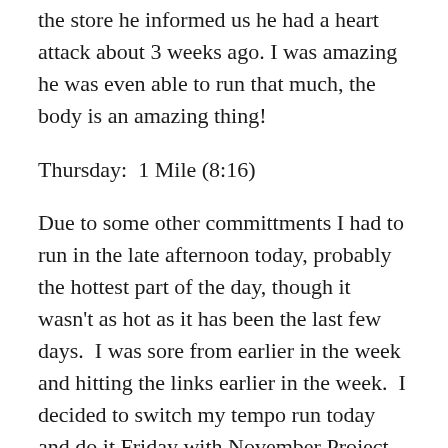the store he informed us he had a heart attack about 3 weeks ago.  I was amazing he was even able to run that much, the body is an amazing thing!
Thursday:  1 Mile (8:16)
Due to some other committments I had to run in the late afternoon today, probably the hottest part of the day, though it wasn't as hot as it has been the last few days.  I was sore from earlier in the week and hitting the links earlier in the week.  I decided to switch my tempo run today and do it Friday with November Project.  I got my new shoes in the mail, and decided a short run would be a good start to breaking